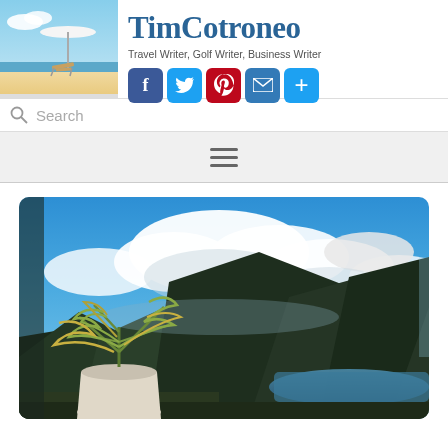[Figure (screenshot): Website header banner for TimCotroneo with beach photo on left, site title and subtitle on right, social media icons (Facebook, Twitter, Pinterest, Email, Plus), search bar, hamburger navigation menu, and a tropical landscape photo with mountains, water, clouds, and a potted plant in foreground]
TimCotroneo
Travel Writer, Golf Writer, Business Writer
Search
[Figure (photo): Tropical landscape view showing mountains, a body of water in the distance, a large white ceramic pot with tropical plants in the foreground, under a dramatic blue sky with large white clouds]